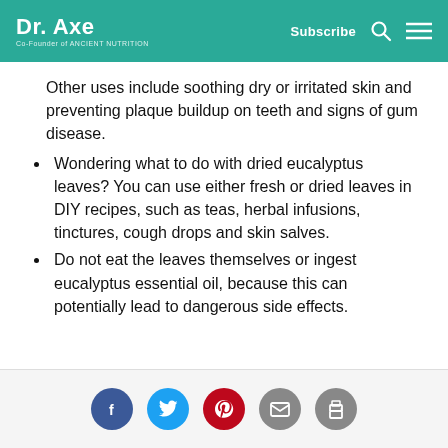Dr. Axe — Co-Founder of Ancient Nutrition | Subscribe
Other uses include soothing dry or irritated skin and preventing plaque buildup on teeth and signs of gum disease.
Wondering what to do with dried eucalyptus leaves? You can use either fresh or dried leaves in DIY recipes, such as teas, herbal infusions, tinctures, cough drops and skin salves.
Do not eat the leaves themselves or ingest eucalyptus essential oil, because this can potentially lead to dangerous side effects.
Social share icons: Facebook, Twitter, Pinterest, Email, Print